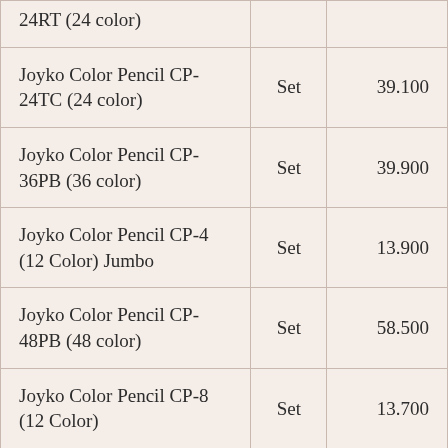| 24RT (24 color) |  |  |
| Joyko Color Pencil CP-24TC (24 color) | Set | 39.100 |
| Joyko Color Pencil CP-36PB (36 color) | Set | 39.900 |
| Joyko Color Pencil CP-4 (12 Color) Jumbo | Set | 13.900 |
| Joyko Color Pencil CP-48PB (48 color) | Set | 58.500 |
| Joyko Color Pencil CP-8 (12 Color) | Set | 13.700 |